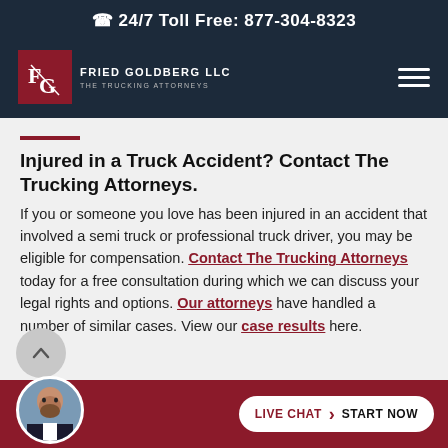24/7 Toll Free: 877-304-8323
[Figure (logo): Fried Goldberg LLC - The Trucking Attorneys logo with FG monogram in red square]
Injured in a Truck Accident? Contact The Trucking Attorneys.
If you or someone you love has been injured in an accident that involved a semi truck or professional truck driver, you may be eligible for compensation. Contact The Trucking Attorneys today for a free consultation during which we can discuss your legal rights and options. Our attorneys have handled a number of similar cases. View our case results here.
LIVE CHAT > START NOW